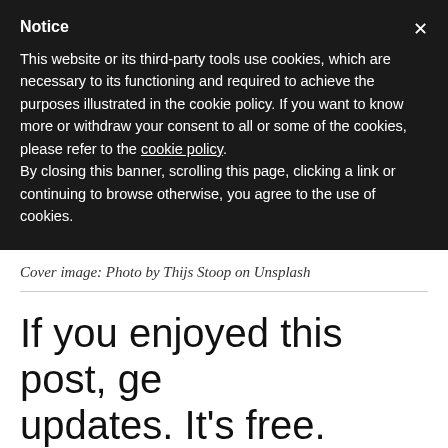Notice
This website or its third-party tools use cookies, which are necessary to its functioning and required to achieve the purposes illustrated in the cookie policy. If you want to know more or withdraw your consent to all or some of the cookies, please refer to the cookie policy.
By closing this banner, scrolling this page, clicking a link or continuing to browse otherwise, you agree to the use of cookies.
Cover image: Photo by Thijs Stoop on Unsplash
If you enjoyed this post, ge updates. It's free.